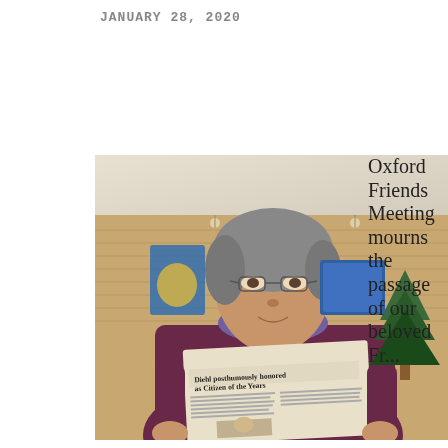JANUARY 28, 2020
[Figure (photo): A woman holding a newspaper open to an article headlined 'Diehl posthumously honored as Citizen of the Years', standing in what appears to be a meeting hall with brick walls, banners, and a Christmas tree visible in the background.]
Oxford Friends Meeting mourns the passage of our beloved Fr...